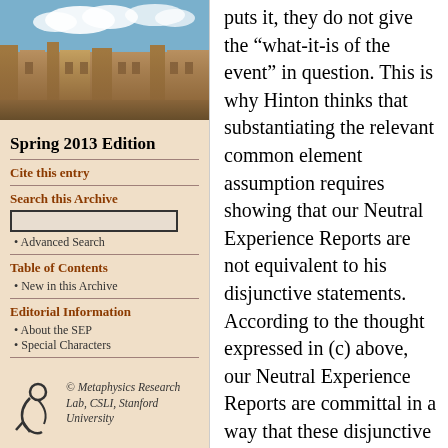[Figure (photo): Photo of a historic university building (sandstone architecture) with blue sky and clouds]
Spring 2013 Edition
Cite this entry
Search this Archive
Advanced Search
Table of Contents
New in this Archive
Editorial Information
About the SEP
Special Characters
[Figure (logo): Metaphysics Research Lab logo — stylized spiral figure]
© Metaphysics Research Lab, CSLI, Stanford University
puts it, they do not give the “what-it-is of the event” in question. This is why Hinton thinks that substantiating the relevant common element assumption requires showing that our Neutral Experience Reports are not equivalent to his disjunctive statements. According to the thought expressed in (c) above, our Neutral Experience Reports are committal in a way that these disjunctive statements are not. So the idea here seems to be that if our Neutral Experience Reports are equivalent to Hinton’s Perception-Illusion disjunctions, then assumption (c), above, is thereby